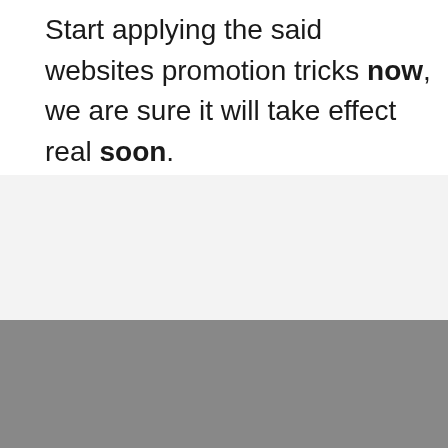Start applying the said websites promotion tricks now, we are sure it will take effect real soon.